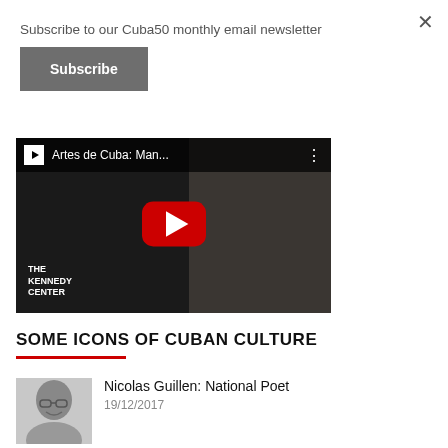Subscribe to our Cuba50 monthly email newsletter
Subscribe
[Figure (screenshot): YouTube video thumbnail showing 'Artes de Cuba: Man...' with a play button, The Kennedy Center logo, and a man in the background.]
SOME ICONS OF CUBAN CULTURE
[Figure (photo): Black and white photo of Nicolas Guillen, an elderly man smiling, wearing glasses.]
Nicolas Guillen: National Poet
19/12/2017